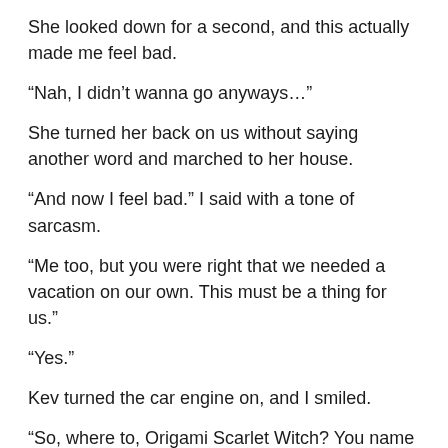She looked down for a second, and this actually made me feel bad.
“Nah, I didn’t wanna go anyways…”
She turned her back on us without saying another word and marched to her house.
“And now I feel bad.” I said with a tone of sarcasm.
“Me too, but you were right that we needed a vacation on our own. This must be a thing for us.”
“Yes.”
Kev turned the car engine on, and I smiled.
“So, where to, Origami Scarlet Witch? You name it.”
“Claremont.”